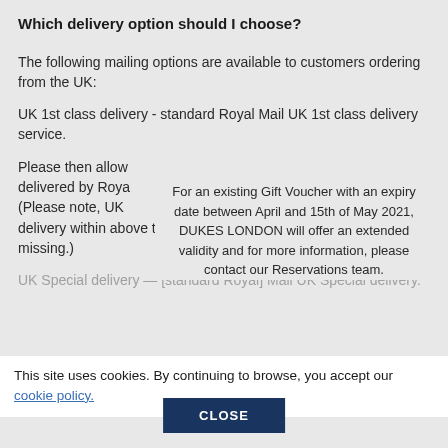Which delivery option should I choose?
The following mailing options are available to customers ordering from the UK:
UK 1st class delivery - standard Royal Mail UK 1st class delivery service.
Please then allow [text obscured] delivered by Roya[l Mail] (Please note, UK [text obscured] delivery within above timescales, and cannot be traced if it goes missing.)
For an existing Gift Voucher with an expiry date between April and 15th of May 2021, DUKES LONDON will offer an extended validity and for more information, please contact our Reservations team.
UK Special delivery — [standard Royal] Mail UK Special delivery.
This site uses cookies. By continuing to browse, you accept our cookie policy.
CLOSE